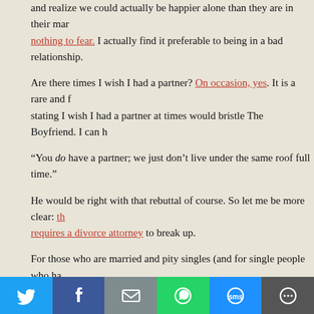and realize we could actually be happier alone than they are in their marriage. nothing to fear. I actually find it preferable to being in a bad relationship.
Are there times I wish I had a partner? On occasion, yes. It is a rare and f... stating I wish I had a partner at times would bristle The Boyfriend. I can h...
“You do have a partner; we just don’t live under the same roof full time.”
He would be right with that rebuttal of course. So let me be more clear: th... requires a divorce attorney to break up.
For those who are married and pity singles (and for single people who ha... of being single), I have made a list. If this list shines a light on the advanta... saves just one single person from a poor-you conversation with a well-me... would have accomplished something with this post today.
5 Benefits of Being Single
1- Complete Independence- There is a great freedom that exists when s... anyone and I don’t have to argue or negotiate over my decisions.
[Figure (infographic): Social media sharing bar with icons for Twitter, Facebook, Email, WhatsApp, SMS, and More]